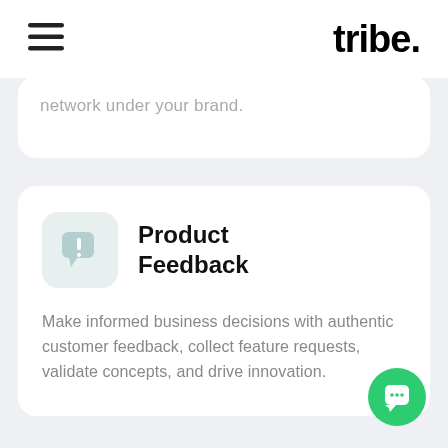tribe.
network under your brand.
Product Feedback
Make informed business decisions with authentic customer feedback, collect feature requests, validate concepts, and drive innovation.
[Figure (illustration): Green circular chat/support button in bottom-right corner]